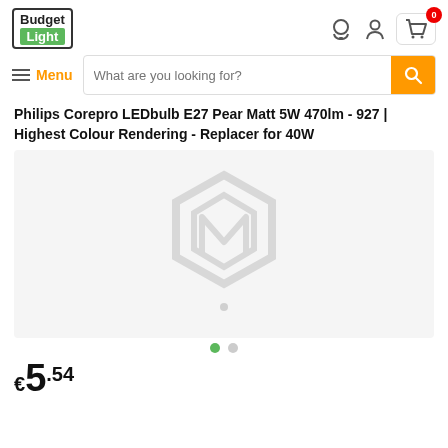[Figure (logo): Budget Light logo with green background for 'Light' text]
[Figure (illustration): Header icons: headset, user account, shopping cart with badge showing 0]
[Figure (illustration): Navigation bar with hamburger menu labeled Menu and search bar with orange search button]
Philips Corepro LEDbulb E27 Pear Matt 5W 470lm - 927 | Highest Colour Rendering - Replacer for 40W
[Figure (photo): Product image placeholder showing Magento logo watermark on grey background with carousel dots below]
€ 5 .54